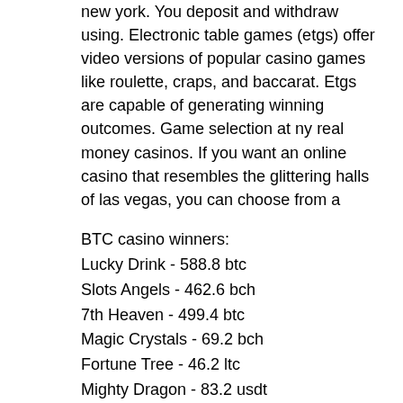new york. You deposit and withdraw using. Electronic table games (etgs) offer video versions of popular casino games like roulette, craps, and baccarat. Etgs are capable of generating winning outcomes. Game selection at ny real money casinos. If you want an online casino that resembles the glittering halls of las vegas, you can choose from a
BTC casino winners:
Lucky Drink - 588.8 btc
Slots Angels - 462.6 bch
7th Heaven - 499.4 btc
Magic Crystals - 69.2 bch
Fortune Tree - 46.2 ltc
Mighty Dragon - 83.2 usdt
Book of the Ages - 744.6 btc
Sunset Slot - 685.3 bch
Adventure Palace - 306.5 bch
Slot-o-Pol Deluxe - 45 usdt
Magic Book - 539.5 bch